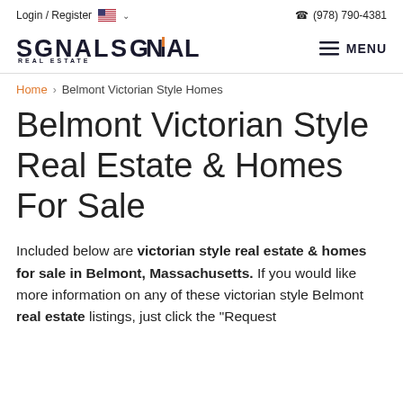Login / Register  🇺🇸 ∨    📞 (978) 790-4381
[Figure (logo): Signal Real Estate logo with orange accent bar on the I, text SIGNAL REAL ESTATE]
MENU
Home > Belmont Victorian Style Homes
Belmont Victorian Style Real Estate & Homes For Sale
Included below are victorian style real estate & homes for sale in Belmont, Massachusetts. If you would like more information on any of these victorian style Belmont real estate listings, just click the "Request More Information" button on any...